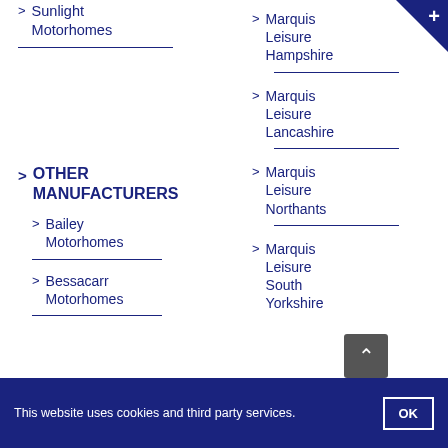Sunlight Motorhomes
OTHER MANUFACTURERS
Bailey Motorhomes
Bessacarr Motorhomes
Marquis Leisure Hampshire
Marquis Leisure Lancashire
Marquis Leisure Northants
Marquis Leisure South Yorkshire
This website uses cookies and third party services.